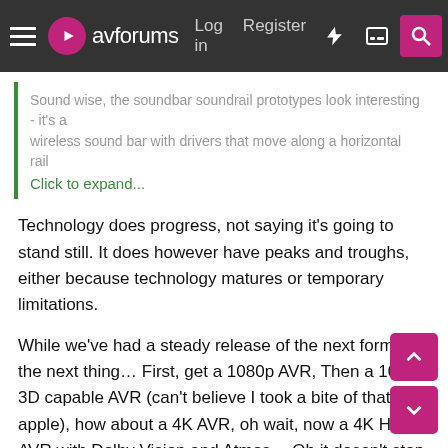avforums — Log in | Register
Sound wise, the soundbar soundrail prototypes look interesting - it's a wireless sound bar with drivers that move along a horizontal rail
Click to expand...
Technology does progress, not saying it's going to stand still. It does however have peaks and troughs, either because technology matures or temporary limitations.
While we've had a steady release of the next format, the next thing… First, get a 1080p AVR, Then a 1080p 3D capable AVR (can't believe I took a bite of that apple), how about a 4K AVR, oh wait, now a 4K HDR AVR with Dolby Vision and Atmos… Oh it doesn't stop there, now a 4K HDR10+ / Dolby Vision AVR… Finished now? Nope, 4K/120hz… Oh but you wanted all your ports to do that.. Sure, another release…
It appears to me personally we're going into a period where no new format is on the horizon and receivers will be free of the HDMI 2.1 limitations. Not to mention that AVRs can already do 8k/60 which (let's be honest) won't happen in any meaningful